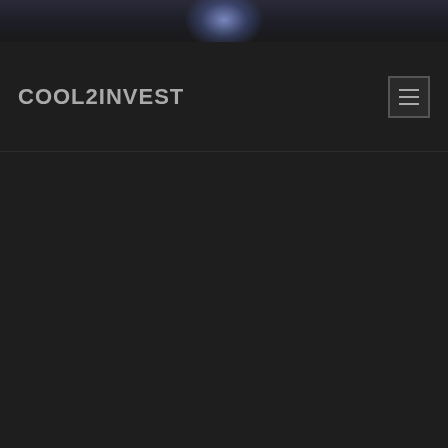[Figure (photo): Dark atmospheric background image with a light flare/spotlight at the top center, fading to dark tones]
COOL2INVEST
[Figure (other): Hamburger menu icon button with three horizontal lines in a square border]